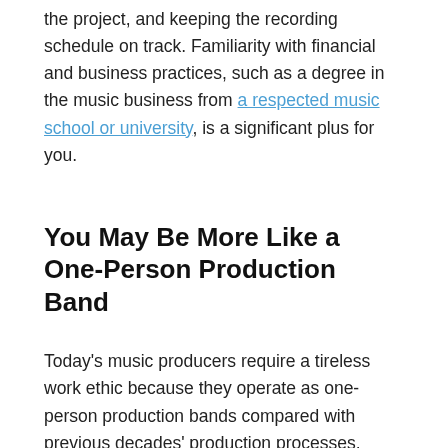the project, and keeping the recording schedule on track. Familiarity with financial and business practices, such as a degree in the music business from a respected music school or university, is a significant plus for you.
You May Be More Like a One-Person Production Band
Today's music producers require a tireless work ethic because they operate as one-person production bands compared with previous decades' production processes.
As music producer Cameell Hanna (Justin Timberlake, Adele, Florence & the Machine, Eva Simons, Wiz Khalifa, Snoop Dogg) points out,